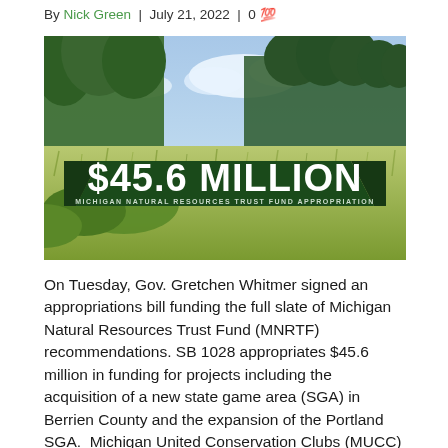By Nick Green | July 21, 2022 | 0
[Figure (photo): Outdoor landscape photo showing a meadow and forest with an overlaid dark green banner reading '$45.6 MILLION MICHIGAN NATURAL RESOURCES TRUST FUND APPROPRIATION']
On Tuesday, Gov. Gretchen Whitmer signed an appropriations bill funding the full slate of Michigan Natural Resources Trust Fund (MNRTF) recommendations. SB 1028 appropriates $45.6 million in funding for projects including the acquisition of a new state game area (SGA) in Berrien County and the expansion of the Portland SGA. Michigan United Conservation Clubs (MUCC)...